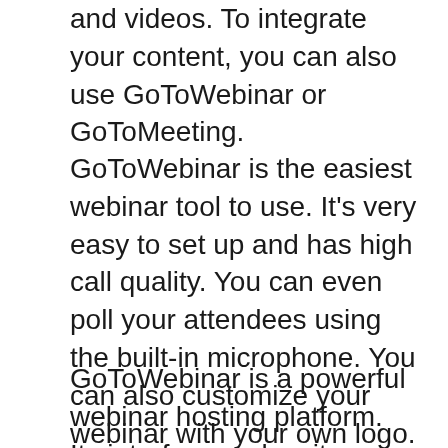and videos. To integrate your content, you can also use GoToWebinar or GoToMeeting.
GoToWebinar is the easiest webinar tool to use. It's very easy to set up and has high call quality. You can even poll your attendees using the built-in microphone. You can also customize your webinar with your own logo. There are several price plans available for GoToWebinar. The Pro Plan is $89 per annum, while the Plus Plan is $229. It also has several other features, including video conferencing.
GoToWebinar is a powerful webinar hosting platform. Its interface makes it easy to manage your webinars. Moreover, the product is safe and secure and you can trust